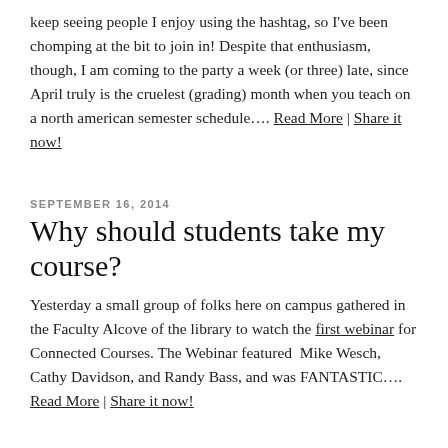keep seeing people I enjoy using the hashtag, so I've been chomping at the bit to join in! Despite that enthusiasm, though, I am coming to the party a week (or three) late, since April truly is the cruelest (grading) month when you teach on a north american semester schedule…. Read More | Share it now!
SEPTEMBER 16, 2014
Why should students take my course?
Yesterday a small group of folks here on campus gathered in the Faculty Alcove of the library to watch the first webinar for Connected Courses. The Webinar featured  Mike Wesch, Cathy Davidson, and Randy Bass, and was FANTASTIC…. Read More | Share it now!